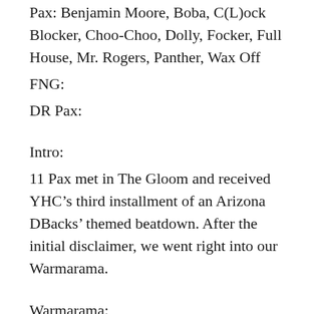Pax: Benjamin Moore, Boba, C(L)ock Blocker, Choo-Choo, Dolly, Focker, Full House, Mr. Rogers, Panther, Wax Off
FNG:
DR Pax:
Intro:
11 Pax met in The Gloom and received YHC’s third installment of an Arizona DBacks’ themed beatdown. After the initial disclaimer, we went right into our Warmarama.
Warmarama:
DBacks Trivia with the Reebok…to give members of…